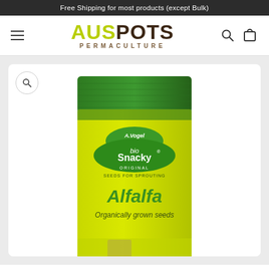Free Shipping for most products (except Bulk)
[Figure (logo): AUSPOTS PERMACULTURE logo with hamburger menu, search icon, and cart icon]
[Figure (photo): A.Vogel bioSnacky Original Seeds for Sprouting Alfalfa Organically grown seeds product bag, yellow-green packaging with dark green top seal]